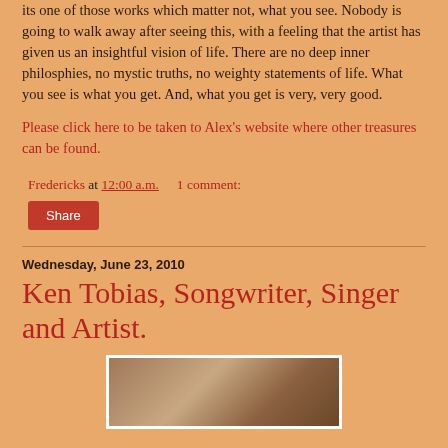its one of those works which matter not, what you see. Nobody is going to walk away after seeing this, with a feeling that the artist has given us an insightful vision of life. There are no deep inner philosphies, no mystic truths, no weighty statements of life. What you see is what you get. And, what you get is very, very good.
Please click here to be taken to Alex's website where other treasures can be found.
Fredericks at 12:00 a.m.   1 comment:
Share
Wednesday, June 23, 2010
Ken Tobias, Songwriter, Singer and Artist.
[Figure (photo): Photo of two people, one wearing a black hat, at an indoor location]